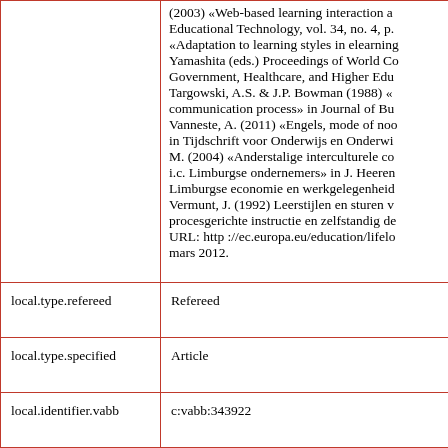| Field | Value |
| --- | --- |
|  | (2003) «Web-based learning interaction a... Educational Technology, vol. 34, no. 4, p. ... «Adaptation to learning styles in elearning... Yamashita (eds.) Proceedings of World Co... Government, Healthcare, and Higher Edu... Targowski, A.S. & J.P. Bowman (1988) «... communication process» in Journal of Bu... Vanneste, A. (2011) «Engels, mode of no... in Tijdschrift voor Onderwijs en Onderwi... M. (2004) «Anderstalige interculturele co... i.c. Limburgse ondernemers» in J. Heeren... Limburgse economie en werkgelegenheid... Vermunt, J. (1992) Leerstijlen en sturen v... procesgerichte instructie en zelfstandig de... URL: http ://ec.europa.eu/education/lifelo... mars 2012. |
| local.type.refereed | Refereed |
| local.type.specified | Article |
| local.identifier.vabb | c:vabb:343922 |